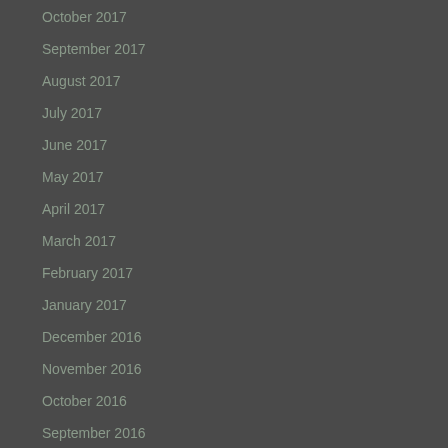October 2017
September 2017
August 2017
July 2017
June 2017
May 2017
April 2017
March 2017
February 2017
January 2017
December 2016
November 2016
October 2016
September 2016
August 2016